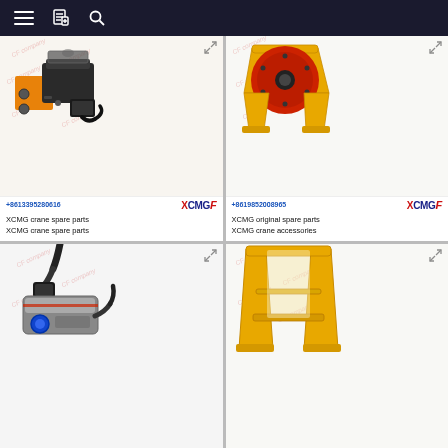Navigation bar with menu, bookmark, and search icons
[Figure (photo): XCMG crane spare part - solenoid valve / hydraulic component, black and orange, with watermark 'CF company' and phone +8613395280616, XCMG logo]
XCMG crane spare parts
XCMG crane spare parts
[Figure (photo): XCMG original spare part - red circular pulley/drum with yellow metal bracket/frame, with watermark 'CF company' and phone +8619852008965, XCMG logo]
XCMG original spare parts
XCMG crane accessories
[Figure (photo): XCMG crane part - black sensor or brake component with cable, with watermark 'CF company']
[Figure (photo): XCMG crane part - yellow metal A-frame or support bracket structure, with watermark 'CF company']